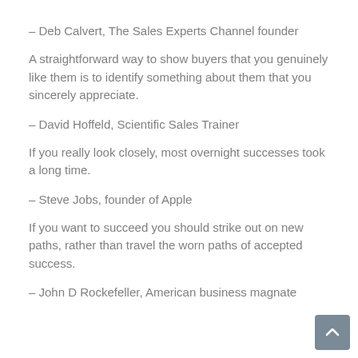– Deb Calvert, The Sales Experts Channel founder
A straightforward way to show buyers that you genuinely like them is to identify something about them that you sincerely appreciate.
– David Hoffeld, Scientific Sales Trainer
If you really look closely, most overnight successes took a long time.
– Steve Jobs, founder of Apple
If you want to succeed you should strike out on new paths, rather than travel the worn paths of accepted success.
– John D Rockefeller, American business magnate